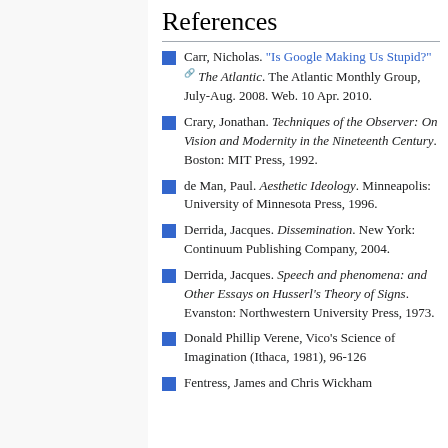References
Carr, Nicholas. "Is Google Making Us Stupid?" The Atlantic. The Atlantic Monthly Group, July-Aug. 2008. Web. 10 Apr. 2010.
Crary, Jonathan. Techniques of the Observer: On Vision and Modernity in the Nineteenth Century. Boston: MIT Press, 1992.
de Man, Paul. Aesthetic Ideology. Minneapolis: University of Minnesota Press, 1996.
Derrida, Jacques. Dissemination. New York: Continuum Publishing Company, 2004.
Derrida, Jacques. Speech and phenomena: and Other Essays on Husserl's Theory of Signs. Evanston: Northwestern University Press, 1973.
Donald Phillip Verene, Vico's Science of Imagination (Ithaca, 1981), 96-126
Fentress, James and Chris Wickham (1992) Social Memory. Oxford: Blackwell.